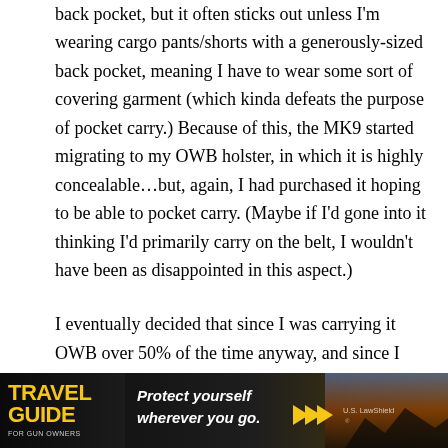back pocket, but it often sticks out unless I'm wearing cargo pants/shorts with a generously-sized back pocket, meaning I have to wear some sort of covering garment (which kinda defeats the purpose of pocket carry.) Because of this, the MK9 started migrating to my OWB holster, in which it is highly concealable…but, again, I had purchased it hoping to be able to pocket carry. (Maybe if I'd gone into it thinking I'd primarily carry on the belt, I wouldn't have been as disappointed in this aspect.)
I eventually decided that since I was carrying it OWB over 50% of the time anyway, and since I really wanted something with a trigger more to my liking, to purchase a Springfield EMP. It is almost as concealable as the MK9 in its OWB holster, and the
[Figure (infographic): Advertisement banner for 'Travel Guide for Gun Owners' by US LawShield. Dark background with yellow 'TRAVEL GUIDE' text on left, tagline 'Protect yourself wherever you go.' in center with yellow play-forward arrows, and US LawShield logo on right.]